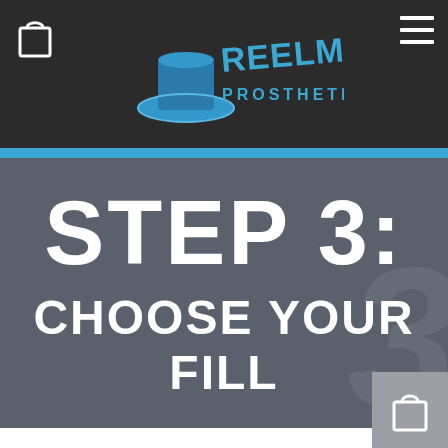Reel Magik Prosthetics
[Figure (logo): Reel Magik Prosthetics logo with a top hat and blue text on dark background]
STEP 3:
CHOOSE YOUR FILL
[Figure (other): Shopping cart icon at bottom right]